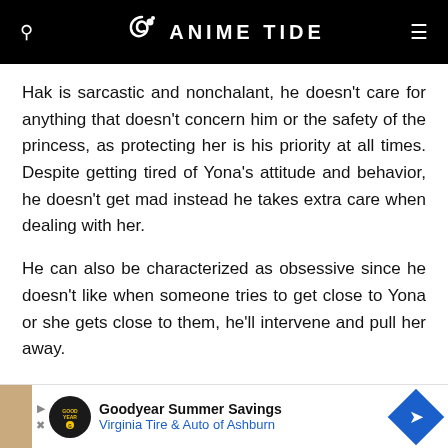ANIME TIDE
Hak is sarcastic and nonchalant, he doesn't care for anything that doesn't concern him or the safety of the princess, as protecting her is his priority at all times. Despite getting tired of Yona's attitude and behavior, he doesn't get mad instead he takes extra care when dealing with her.
He can also be characterized as obsessive since he doesn't like when someone tries to get close to Yona or she gets close to them, he'll intervene and pull her away.
14. Reinhard Van Astrea from Re:Zero
[Figure (screenshot): Advertisement banner: Goodyear Summer Savings - Virginia Tire & Auto of Ashburn]